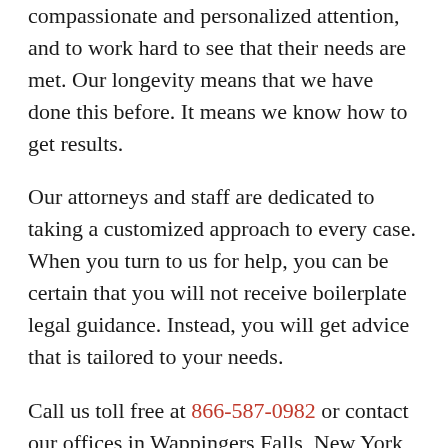compassionate and personalized attention, and to work hard to see that their needs are met. Our longevity means that we have done this before. It means we know how to get results.
Our attorneys and staff are dedicated to taking a customized approach to every case. When you turn to us for help, you can be certain that you will not receive boilerplate legal guidance. Instead, you will get advice that is tailored to your needs.
Call us toll free at 866-587-0982 or contact our offices in Wappingers Falls, New York, by email to schedule a consultation.
To serve you better, we focus entirely on the following areas of the law: